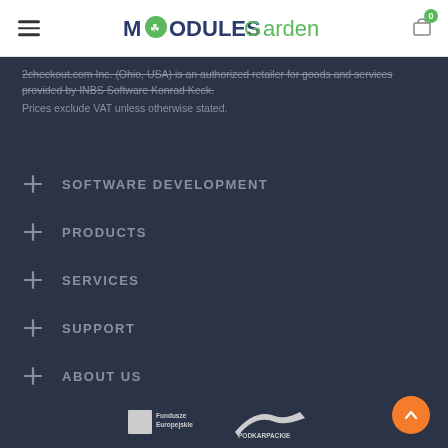ModulesGarden
2checkout.com Inc. (Ohio, USA) is an authorized retailer for goods and services provided by INBS Software Konrad Keck.
Prices exclude VAT unless otherwise stated.
SOFTWARE DEVELOPMENT
PRODUCTS
SERVICES
SUPPORT
ABOUT US
[Figure (logo): Fundusze Europejskie logo and Podkarpackie logo at the bottom of the page]